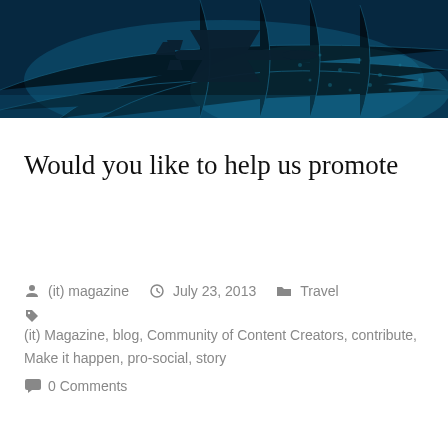[Figure (photo): A dark blue banner image showing a silhouette of an airplane flying over a digital globe/world map with blue tones]
Would you like to help us promote
By: (it) magazine   July 23, 2013   Travel
Tags: (it) Magazine, blog, Community of Content Creators, contribute, Make it happen, pro-social, story
0 Comments